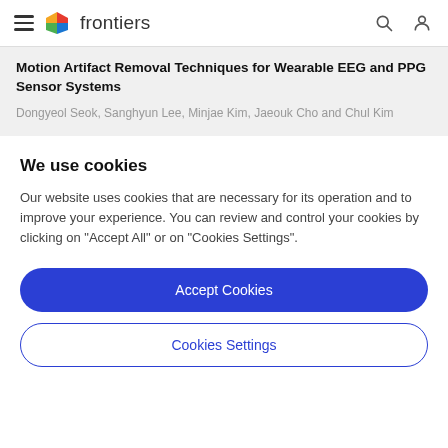frontiers
Motion Artifact Removal Techniques for Wearable EEG and PPG Sensor Systems
Dongyeol Seok, Sanghyun Lee, Minjae Kim, Jaeouk Cho and Chul Kim
We use cookies
Our website uses cookies that are necessary for its operation and to improve your experience. You can review and control your cookies by clicking on "Accept All" or on "Cookies Settings".
Accept Cookies
Cookies Settings